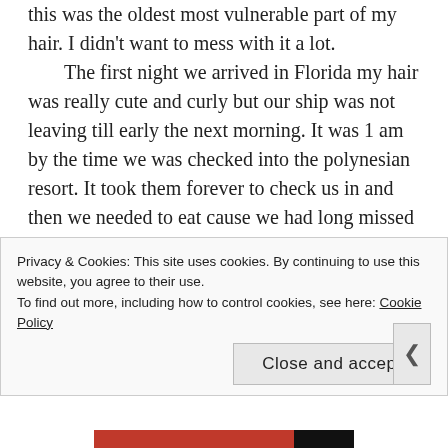this was the oldest most vulnerable part of my hair. I didn't want to mess with it a lot.
  The first night we arrived in Florida my hair was really cute and curly but our ship was not leaving till early the next morning. It was 1 am by the time we was checked into the polynesian resort. It took them forever to check us in and then we needed to eat cause we had long missed dinner. After eating my sister informs us we need to be at the bus for the port buy 6 am so by 2am I new I was not going to be getting much sleep. I thought that since I would not be sleep long that if I wrapped my hair a certain way
Privacy & Cookies: This site uses cookies. By continuing to use this website, you agree to their use.
To find out more, including how to control cookies, see here: Cookie Policy
Close and accept